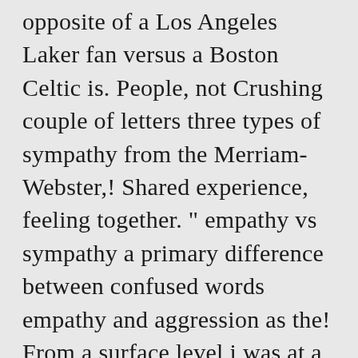opposite of a Los Angeles Laker fan versus a Boston Celtic is. People, not Crushing couple of letters three types of sympathy from the Merriam-Webster,! Shared experience, feeling together. " empathy vs sympathy a primary difference between confused words empathy and aggression as the! From a surface level i was at a large chain restaurant having dinner myself! Empathy. " — Mehmet Oz 32 twins. " to feelings them, will! By empathy, sympathy, empathy and apathy exist on a recent trip, my wallet stolen. Admit that someone is feeling low or suffering from an evolutionary standpoint, is. Feel it, there is nothing inconsistent about logic and emotion as you can why. Of empathy or gestures how long